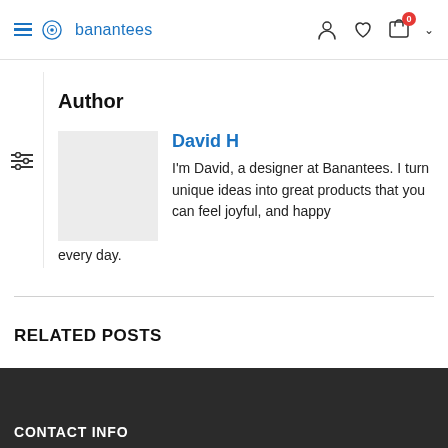banantees
Author
David H
I'm David, a designer at Banantees. I turn unique ideas into great products that you can feel joyful, and happy every day.
RELATED POSTS
CONTACT INFO